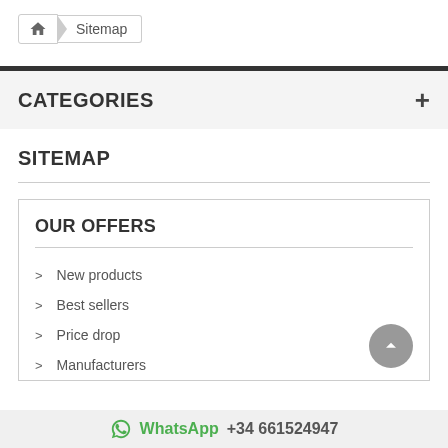Home > Sitemap
CATEGORIES
SITEMAP
OUR OFFERS
New products
Best sellers
Price drop
Manufacturers
WhatsApp +34 661524947